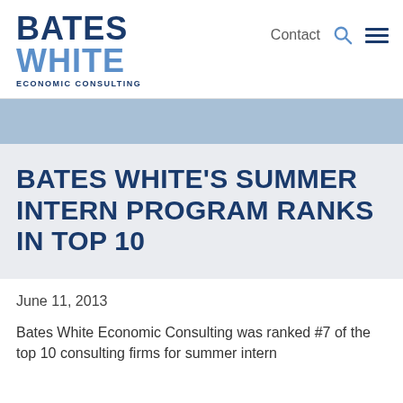[Figure (logo): Bates White Economic Consulting logo with 'BATES' in dark navy, 'WHITE' in light blue, and 'ECONOMIC CONSULTING' subtitle]
Contact
BATES WHITE'S SUMMER INTERN PROGRAM RANKS IN TOP 10
June 11, 2013
Bates White Economic Consulting was ranked #7 of the top 10 consulting firms for summer intern